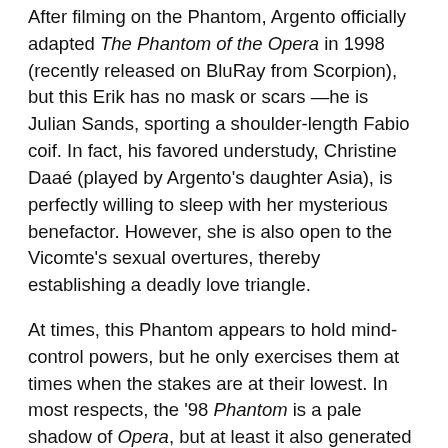After filming on the Phantom, Argento officially adapted The Phantom of the Opera in 1998 (recently released on BluRay from Scorpion), but this Erik has no mask or scars—he is Julian Sands, sporting a shoulder-length Fabio coif. In fact, his favored understudy, Christine Daaé (played by Argento's daughter Asia), is perfectly willing to sleep with her mysterious benefactor. However, she is also open to the Vicomte's sexual overtures, thereby establishing a deadly love triangle.
At times, this Phantom appears to hold mind-control powers, but he only exercises them at times when the stakes are at their lowest. In most respects, the '98 Phantom is a pale shadow of Opera, but at least it also generated a lot of work for animal handlers. In this case, the Phantom has a close alliance with the Parisian sewer rats, who raised him as a child, whereas the Opera killer frequently battled with the trained crows that were part of the company's Macbeth production.